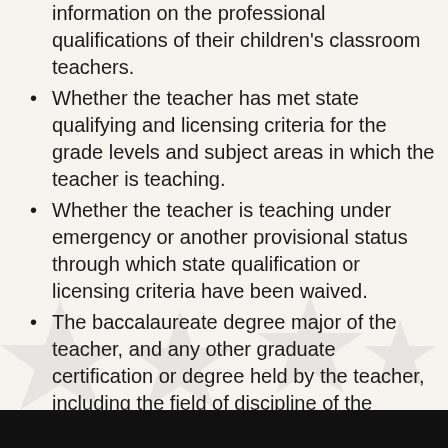information on the professional qualifications of their children's classroom teachers.
Whether the teacher has met state qualifying and licensing criteria for the grade levels and subject areas in which the teacher is teaching.
Whether the teacher is teaching under emergency or another provisional status through which state qualification or licensing criteria have been waived.
The baccalaureate degree major of the teacher, and any other graduate certification or degree held by the teacher, including the field of discipline of the certification or degree.
Whether the child is provided services by paraprofessionals and, if so, their qualifications.